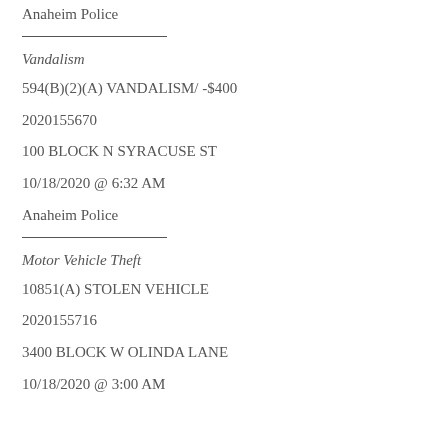Anaheim Police
_______________
Vandalism
594(B)(2)(A) VANDALISM/ -$400
2020155670
100 BLOCK N SYRACUSE ST
10/18/2020 @ 6:32 AM
Anaheim Police
_______________
Motor Vehicle Theft
10851(A) STOLEN VEHICLE
2020155716
3400 BLOCK W OLINDA LANE
10/18/2020 @ 3:00 AM